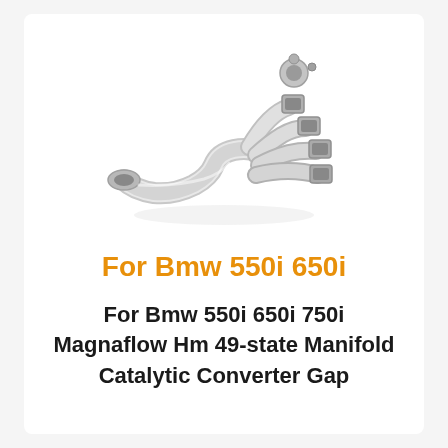[Figure (photo): Exhaust manifold catalytic converter component, silver/metallic finish, showing branched pipe headers merging into a single output with flanged connections]
For Bmw 550i 650i
For Bmw 550i 650i 750i Magnaflow Hm 49-state Manifold Catalytic Converter Gap